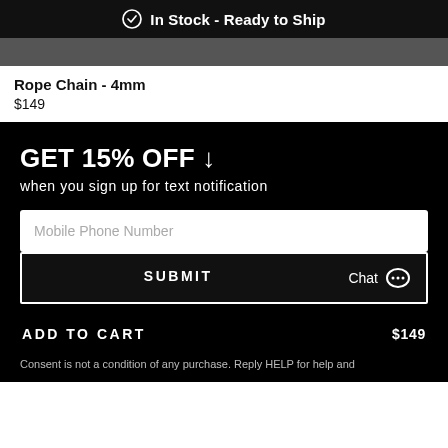In Stock - Ready to Ship
Rope Chain - 4mm
$149
GET 15% OFF ↓
when you sign up for text notification
Mobile Phone Number
SUBMIT
Chat
ADD TO CART   $149
Consent is not a condition of any purchase. Reply HELP for help and